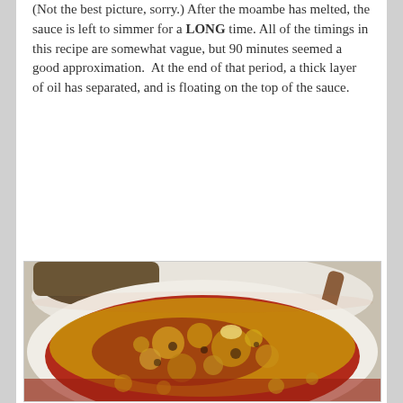(Not the best picture, sorry.) After the moambe has melted, the sauce is left to simmer for a LONG time. All of the timings in this recipe are somewhat vague, but 90 minutes seemed a good approximation.  At the end of that period, a thick layer of oil has separated, and is floating on the top of the sauce.
[Figure (photo): A close-up photo of a large white pot on a stovetop containing a red tomato-based sauce with a thick layer of golden/yellow oil floating on top, creating bubbly circular patterns. A wooden spoon and another pot are visible in the background.]